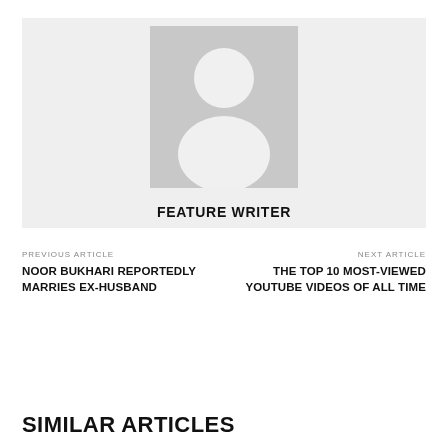[Figure (illustration): Placeholder profile image with generic person silhouette (white on grey background) inside a light grey container box. Below the image is the text FEATURE WRITER in bold.]
PREVIOUS ARTICLE
NOOR BUKHARI REPORTEDLY MARRIES EX-HUSBAND
NEXT ARTICLE
THE TOP 10 MOST-VIEWED YOUTUBE VIDEOS OF ALL TIME
SIMILAR ARTICLES